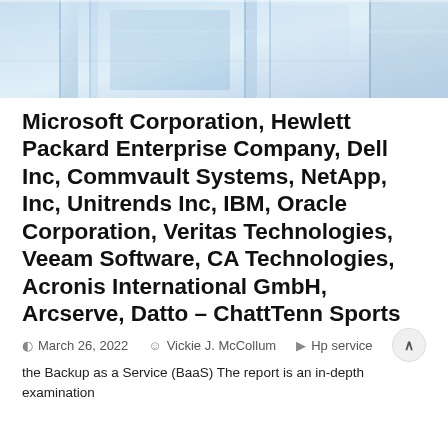[Figure (photo): Blue-toned abstract photo of office or architectural elements, used as a banner image at the top of the page.]
Microsoft Corporation, Hewlett Packard Enterprise Company, Dell Inc, Commvault Systems, NetApp, Inc, Unitrends Inc, IBM, Oracle Corporation, Veritas Technologies, Veeam Software, CA Technologies, Acronis International GmbH, Arcserve, Datto – ChattTenn Sports
March 26, 2022   Vickie J. McCollum   Hp service
the Backup as a Service (BaaS) The report is an in-depth examination